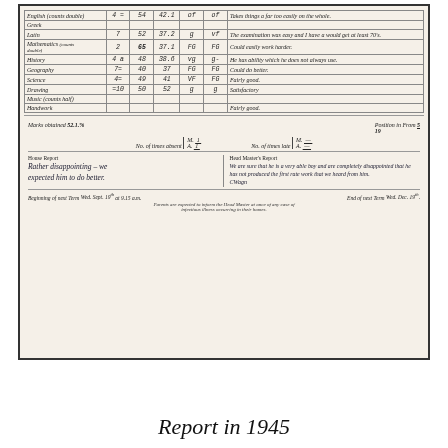[Figure (photo): Scanned school report card from 1945 showing a table of subjects with marks and grades, sections for House Report and Head Master's Report, handwritten notes, and term dates.]
| Subject |  |  |  |  |  | Remarks |
| --- | --- | --- | --- | --- | --- | --- |
| English (counts double) | 4 = | 54 | 42.1 | of | of | Takes things a far too easily on the whole. |
| Greek |  |  |  |  |  |  |
| Latin | 7 | 52 | 37.2 | g | vf | The examination was easy and I have a would get at least 70's. |
| Mathematics (counts double) | 2 | 65 | 37.1 | FG | FG | Could easily work harder. |
| History | 4 a | 48 | 38.6 | vg | g- | He has ability which he does not always use. |
| Geography | 7= | 40 | 37 | FG | FG | Could do better. |
| Science | 4= | 49 | 41 | VF | FG | Fairly good. |
| Drawing | =10 | 50 | 52 | g | g | Satisfactory |
| Music (counts half) |  |  |  |  |  |  |
| Handwork |  |  |  |  |  | Fairly good. |
Marks obtained 52.1.%    Position in From 5/19
No. of times absent M. 1 / A. 1    No. of times late M. — / A. —
House Report: Rather disappointing – we expected him to do better.
Head Master's Report: We are sure that he is a very able boy and are completely disappointed that he has not produced the first rate work that we heard from him.
Beginning of next Term Wed. Sept. 19th at 9.15 a.m.   End of next Term Wed. Dec. 19th.
Parents are expected to inform the Head Master at once of any case of infectious illness occurring in their homes.
Report in 1945